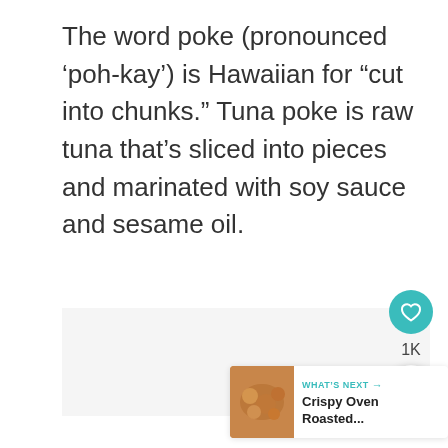The word poke (pronounced ‘poh-kay’) is Hawaiian for “cut into chunks.” Tuna poke is raw tuna that’s sliced into pieces and marinated with soy sauce and sesame oil.
[Figure (other): Light gray placeholder image area for a food photo]
[Figure (infographic): Social interaction UI: teal heart/like button (circular), 1K count label, white share button (circular with share icon)]
[Figure (infographic): WHAT'S NEXT banner with thumbnail of crispy roasted food and text: Crispy Oven Roasted...]